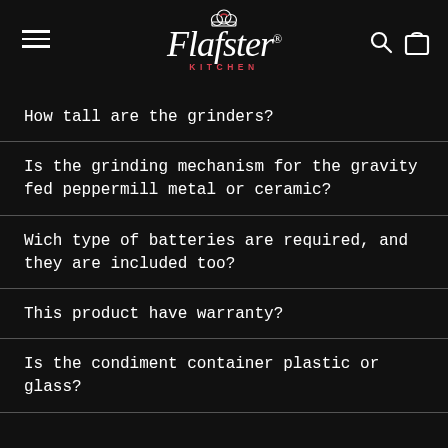Flafster Kitchen
How tall are the grinders?
Is the grinding mechanism for the gravity fed peppermill metal or ceramic?
Wich type of batteries are required, and they are included too?
This product have warranty?
Is the condiment container plastic or glass?